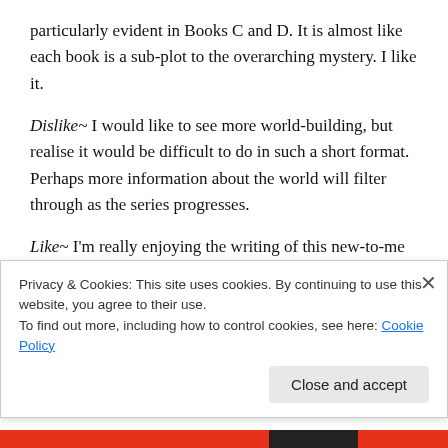particularly evident in Books C and D. It is almost like each book is a sub-plot to the overarching mystery. I like it.
Dislike~ I would like to see more world-building, but realise it would be difficult to do in such a short format. Perhaps more information about the world will filter through as the series progresses.
Like~ I'm really enjoying the writing of this new-to-me author. I think she (? I assume) has a tight style and paces the plot very well for this short format, which some of you may know is one
Privacy & Cookies: This site uses cookies. By continuing to use this website, you agree to their use.
To find out more, including how to control cookies, see here: Cookie Policy